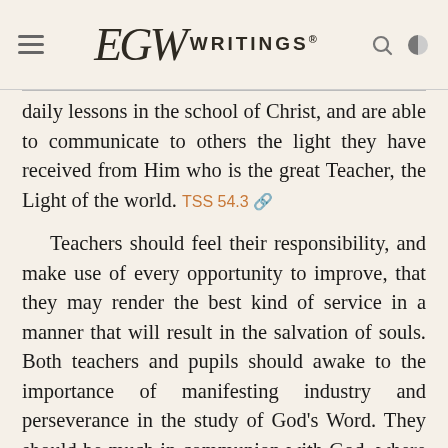EGW WRITINGS®
daily lessons in the school of Christ, and are able to communicate to others the light they have received from Him who is the great Teacher, the Light of the world. TSS 54.3
Teachers should feel their responsibility, and make use of every opportunity to improve, that they may render the best kind of service in a manner that will result in the salvation of souls. Both teachers and pupils should awake to the importance of manifesting industry and perseverance in the study of God's Word. They should be much in communion with God, where petty temptations will not control them, and indolence and apathy will be successfully resisted. No idleness, no self-indulgence should be